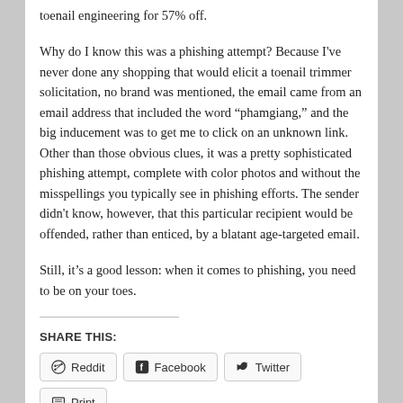toenail engineering for 57% off.
Why do I know this was a phishing attempt? Because I've never done any shopping that would elicit a toenail trimmer solicitation, no brand was mentioned, the email came from an email address that included the word “phamgiang,” and the big inducement was to get me to click on an unknown link. Other than those obvious clues, it was a pretty sophisticated phishing attempt, complete with color photos and without the misspellings you typically see in phishing efforts. The sender didn't know, however, that this particular recipient would be offended, rather than enticed, by a blatant age-targeted email.
Still, it’s a good lesson: when it comes to phishing, you need to be on your toes.
SHARE THIS:
Reddit
Facebook
Twitter
Print
Email